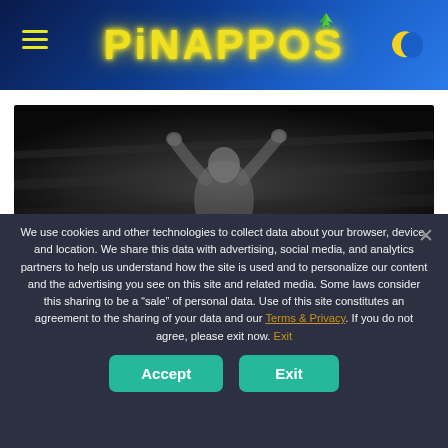PINAPPOS
[Figure (photo): Black and white artistic photo of a person with arms raised over their head against a dark background]
We use cookies and other technologies to collect data about your browser, device, and location. We share this data with advertising, social media, and analytics partners to help us understand how the site is used and to personalize our content and the advertising you see on this site and related media. Some laws consider this sharing to be a "sale" of personal data. Use of this site constitutes an agreement to the sharing of your data and our Terms & Privacy. If you do not agree, please exit now. Exit
Accept
Exit